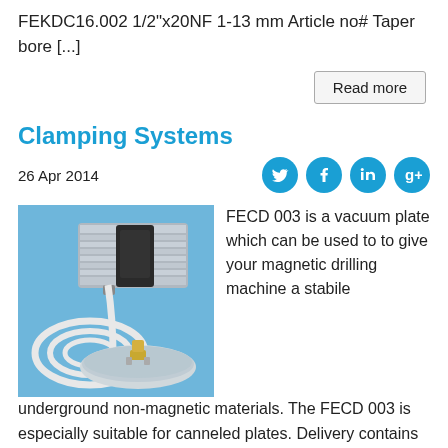FEKDC16.002 1/2"x20NF 1-13 mm Article no# Taper bore [...]
Read more
Clamping Systems
26 Apr 2014
[Figure (photo): Photo of a vacuum clamping system showing a vacuum pump with tubing connected to a round vacuum plate on a blue background.]
FECD 003 is a vacuum plate which can be used to to give your magnetic drilling machine a stabile underground non-magnetic materials. The FECD 003 is especially suitable for canneled plates. Delivery contains vacuum plate and high-performance vacuum pump